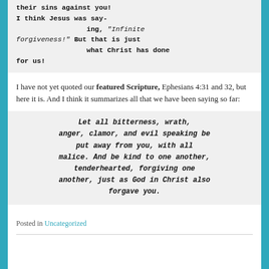their sins against you! I think Jesus was saying, "Infinite forgiveness!" But that is just what Christ has done for us!
I have not yet quoted our featured Scripture, Ephesians 4:31 and 32, but here it is. And I think it summarizes all that we have been saying so far:
Let all bitterness, wrath, anger, clamor, and evil speaking be put away from you, with all malice. And be kind to one another, tenderhearted, forgiving one another, just as God in Christ also forgave you.
Posted in Uncategorized